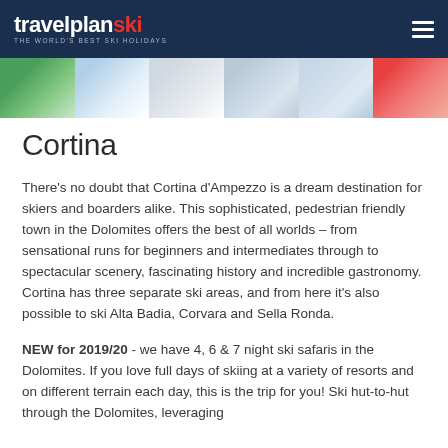travelplanski — THE WORLD'S BEST SKI HOLIDAYS
[Figure (photo): A horizontal strip of six ski resort photo thumbnails]
Cortina
There's no doubt that Cortina d'Ampezzo is a dream destination for skiers and boarders alike. This sophisticated, pedestrian friendly town in the Dolomites offers the best of all worlds – from sensational runs for beginners and intermediates through to spectacular scenery, fascinating history and incredible gastronomy. Cortina has three separate ski areas, and from here it's also possible to ski Alta Badia, Corvara and Sella Ronda.
NEW for 2019/20 - we have 4, 6 & 7 night ski safaris in the Dolomites. If you love full days of skiing at a variety of resorts and on different terrain each day, this is the trip for you! Ski hut-to-hut through the Dolomites, leveraging